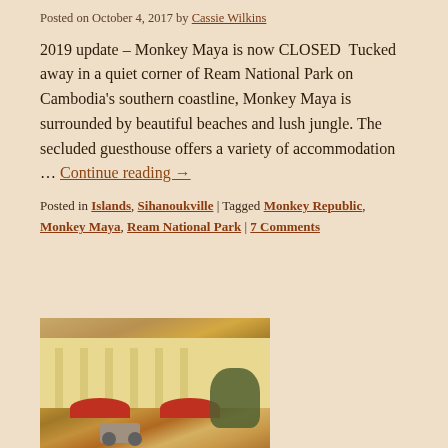Posted on October 4, 2017 by Cassie Wilkins
2019 update – Monkey Maya is now CLOSED  Tucked away in a quiet corner of Ream National Park on Cambodia's southern coastline, Monkey Maya is surrounded by beautiful beaches and lush jungle. The secluded guesthouse offers a variety of accommodation … Continue reading →
Posted in Islands, Sihanoukville | Tagged Monkey Republic, Monkey Maya, Ream National Park | 7 Comments
[Figure (photo): Exterior of a yellow colonial-style building with white balcony railings, red umbrellas in a courtyard, lush foliage, a circular sign, and a scooter parked in front.]